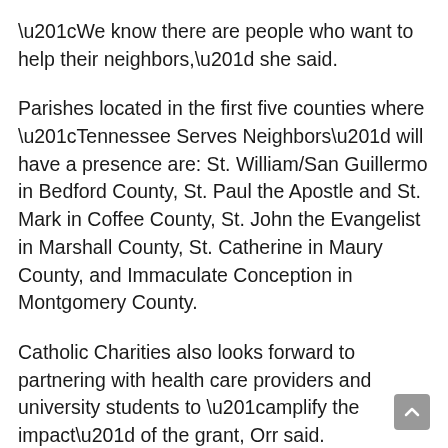“We know there are people who want to help their neighbors,” she said.
Parishes located in the first five counties where “Tennessee Serves Neighbors” will have a presence are: St. William/San Guillermo in Bedford County, St. Paul the Apostle and St. Mark in Coffee County, St. John the Evangelist in Marshall County, St. Catherine in Maury County, and Immaculate Conception in Montgomery County.
Catholic Charities also looks forward to partnering with health care providers and university students to “amplify the impact” of the grant, Orr said. “Tennessee Serves Neighbors” can provide vital training opportunities for college and university master’s level students, such as the University of Tennessee College of Social Work, to work in the social